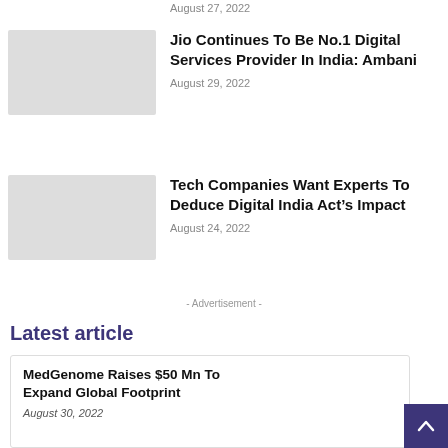August 27, 2022
Jio Continues To Be No.1 Digital Services Provider In India: Ambani
August 29, 2022
Tech Companies Want Experts To Deduce Digital India Act’s Impact
August 24, 2022
- Advertisement -
Latest article
MedGenome Raises $50 Mn To Expand Global Footprint
August 30, 2022